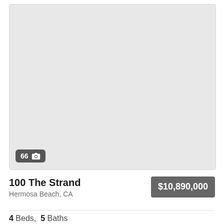[Figure (photo): Property listing photo placeholder showing a light gray image area for 100 The Strand, Hermosa Beach CA. Badge in bottom-left shows 66 photos with camera icon.]
100 The Strand
Hermosa Beach, CA
$10,890,000
4 Beds, 5 Baths